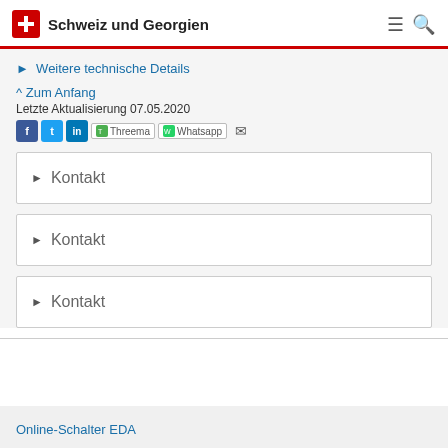Schweiz und Georgien
Weitere technische Details
^ Zum Anfang
Letzte Aktualisierung 07.05.2020
[Figure (infographic): Social media sharing icons: Facebook, Twitter, LinkedIn, Threema, Whatsapp, Email]
▶ Kontakt
▶ Kontakt
▶ Kontakt
Online-Schalter EDA